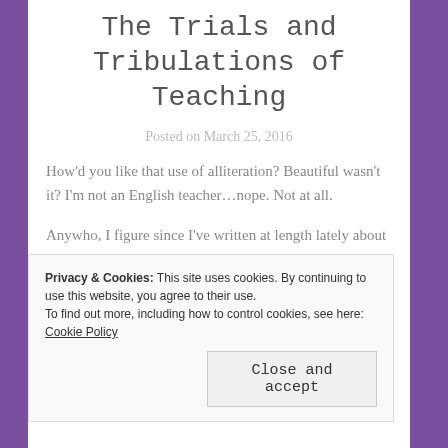The Trials and Tribulations of Teaching
Posted on March 25, 2016
How'd you like that use of alliteration? Beautiful wasn't it? I'm not an English teacher…nope. Not at all.
Anywho, I figure since I've written at length lately about my own child, it's time that I wrote about something that isn't R but my other children. My students.
In the spring of 2005, I graduated from college with a B.A.
Privacy & Cookies: This site uses cookies. By continuing to use this website, you agree to their use. To find out more, including how to control cookies, see here: Cookie Policy
Close and accept